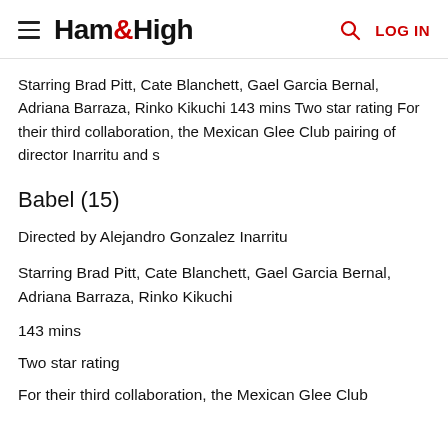Ham&High  LOG IN
Starring Brad Pitt, Cate Blanchett, Gael Garcia Bernal, Adriana Barraza, Rinko Kikuchi 143 mins Two star rating For their third collaboration, the Mexican Glee Club pairing of director Inarritu and s
Babel (15)
Directed by Alejandro Gonzalez Inarritu
Starring Brad Pitt, Cate Blanchett, Gael Garcia Bernal, Adriana Barraza, Rinko Kikuchi
143 mins
Two star rating
For their third collaboration, the Mexican Glee Club